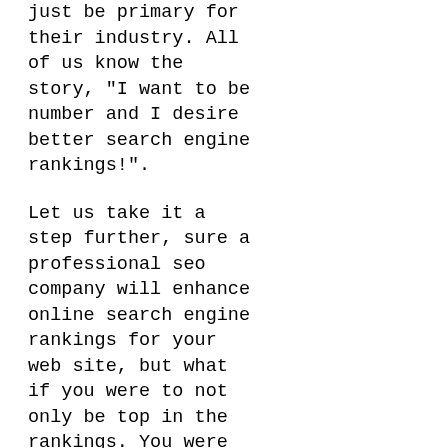just be primary for their industry. All of us know the story, "I want to be number and I desire better search engine rankings!".
Let us take it a step further, sure a professional seo company will enhance online search engine rankings for your web site, but what if you were to not only be top in the rankings. You were actually developing a monopoly on the internet search engine results pages. This suggests within the top 10 outcomes, you in